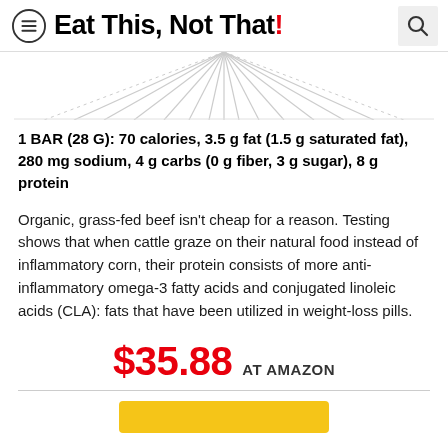Eat This, Not That!
[Figure (illustration): Decorative radiating lines pattern, partial image of a product at the top of the content area]
1 BAR (28 G): 70 calories, 3.5 g fat (1.5 g saturated fat), 280 mg sodium, 4 g carbs (0 g fiber, 3 g sugar), 8 g protein
Organic, grass-fed beef isn't cheap for a reason. Testing shows that when cattle graze on their natural food instead of inflammatory corn, their protein consists of more anti-inflammatory omega-3 fatty acids and conjugated linoleic acids (CLA): fats that have been utilized in weight-loss pills.
$35.88 AT AMAZON